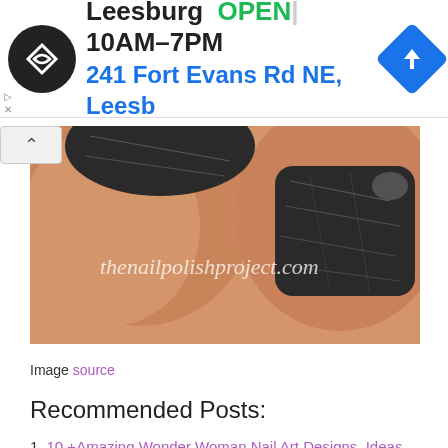[Figure (screenshot): Advertisement banner for Leesburg location showing logo, OPEN status, hours 10AM-7PM, and address 241 Fort Evans Rd NE, Leesb]
[Figure (photo): Close-up photo of fingers with dark black/grey marbled nail polish, watermark thenailpolishproject.com]
Image source
Recommended Posts:
10 +Amazing Wonder Woman Nail Art Designs, Ideas, Trends & Stickers 2014
12 + Easy Wonder Woman Nail Art Designs, Ideas, Trends & Stickers 2014